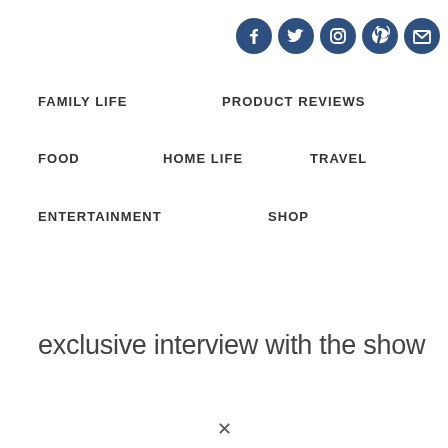Social media icons: Facebook, Twitter, Instagram, Pinterest, Email
FAMILY LIFE
PRODUCT REVIEWS
FOOD
HOME LIFE
TRAVEL
ENTERTAINMENT
SHOP
exclusive interview with the show